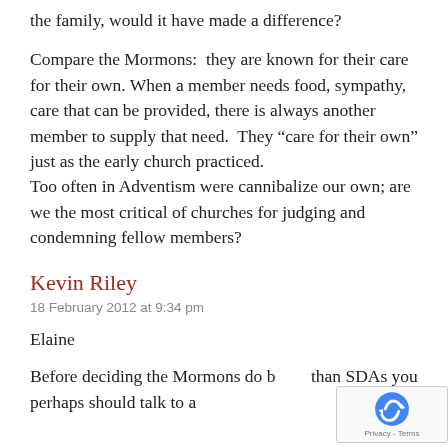the family, would it have made a difference?
Compare the Mormons:  they are known for their care for their own. When a member needs food, sympathy, care that can be provided, there is always another member to supply that need.  They “care for their own” just as the early church practiced.
Too often in Adventism were cannibalize our own; are we the most critical of churches for judging and condemning fellow members?
Kevin Riley
18 February 2012 at 9:34 pm
Elaine
Before deciding the Mormons do better than SDAs you perhaps should talk to a